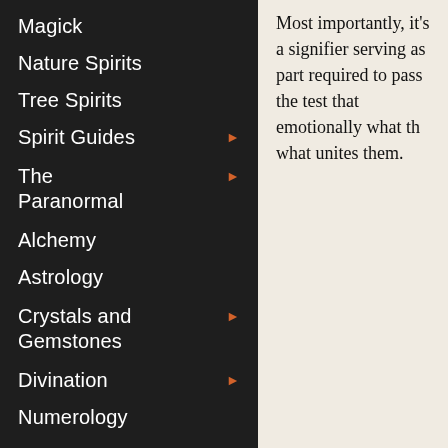Magick
Nature Spirits
Tree Spirits
Spirit Guides ▶
The Paranormal ▶
Alchemy
Astrology
Crystals and Gemstones ▶
Divination ▶
Numerology
Plants and Herbs
Most importantly, it's a signifier serving as part required to pass the test that emotionally what th what unites them.